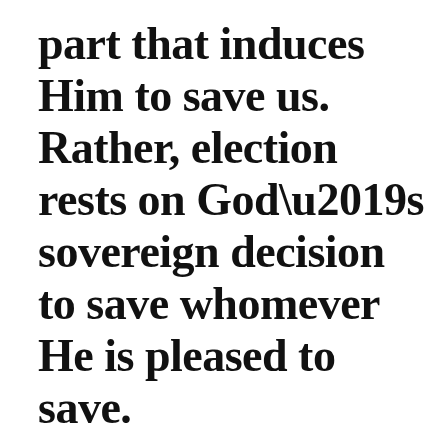part that induces Him to save us. Rather, election rests on God’s sovereign decision to save whomever He is pleased to save.